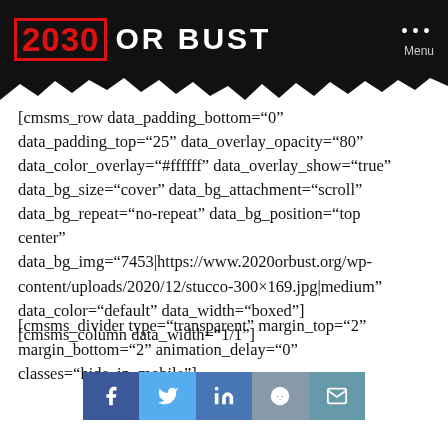2030 OR BUST
[cmsms_row data_padding_bottom="0" data_padding_top="25" data_overlay_opacity="80" data_color_overlay="#ffffff" data_overlay_show="true" data_bg_size="cover" data_bg_attachment="scroll" data_bg_repeat="no-repeat" data_bg_position="top center" data_bg_img="7453|https://www.2020orbust.org/wp-content/uploads/2020/12/stucco-300×169.jpg|medium" data_color="default" data_width="boxed"] [cmsms_column data_width="1/1"]
[cmsms_divider type="transparent" margin_top="2" margin_bottom="2" animation_delay="0" classes="hide_in_mobile"]
[Figure (other): Social share bar with Facebook, Twitter, LinkedIn, Reddit, and Email buttons]